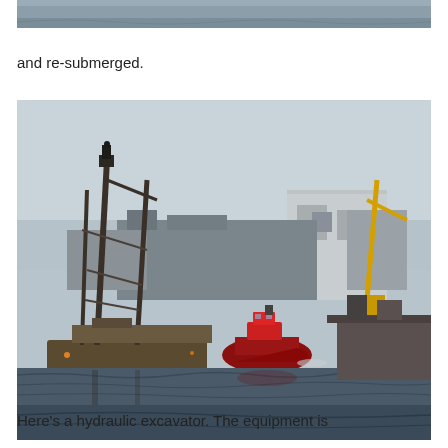[Figure (photo): Top portion of a partially visible photo, showing water or sky — cropped at the top of the page.]
and re-submerged.
[Figure (photo): A harbor scene showing industrial port equipment including a drilling or crane platform on a barge in the foreground, a red tugboat, and large industrial/naval ships and cranes in the background. The water is dark blue-gray and the sky is hazy.]
Here's a hydraulic excavator. The equipment is